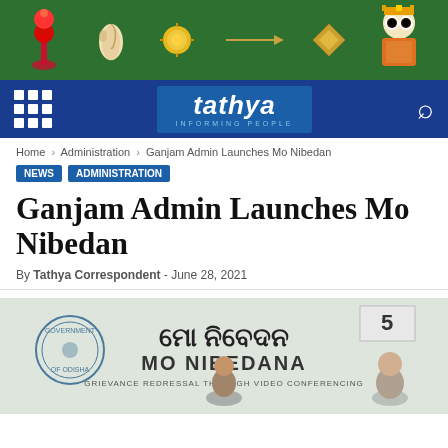[Figure (photo): Green banner with Odia cultural decorations including conch shell, sun, diamond shapes, flower, and Lord Jagannath image on right]
[Figure (logo): Tathya news website logo on dark blue navigation bar with grid menu icon and search icon]
Home > Administration > Ganjam Admin Launches Mo Nibedan
NEWS  ADMINISTRATION
Ganjam Admin Launches Mo Nibedan
By Tathya Correspondent - June 28, 2021
[Figure (photo): Photo of Mo Nibedana / Mo Nibedana grievance redressal via video conferencing launch event with government officials]